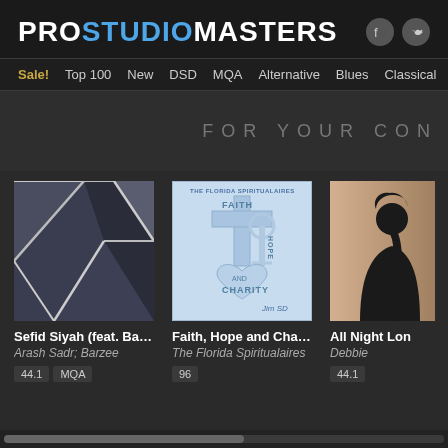PROSTUDIOMASTERS
Sale! Top 100 New DSD MQA Alternative Blues Classical Country Electu
FOR YOUR CON
[Figure (photo): Album cover for Sefid Siyah featuring abstract geometric shapes in black and white/grey]
Sefid Siyah (feat. Barz...
Arash Sadr; Barzee
44.1  MQA
[Figure (photo): Album cover for Faith, Hope and Charity by The Florida Spiritualaires - light blue with cross, anchor and heart imagery]
Faith, Hope and Charity
The Florida Spiritualaires
96
[Figure (photo): Album cover for All Night Long by Debbie - person in profile with warm background]
All Night Lon
Debbie
44.1